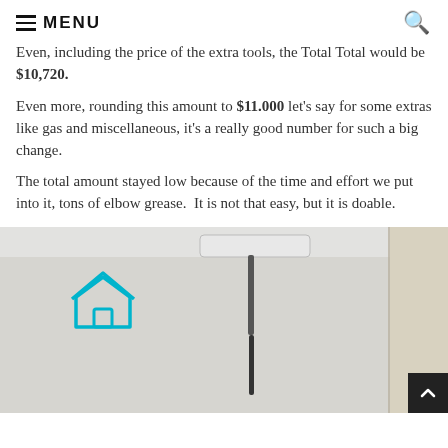MENU
Even, including the price of the extra tools, the Total Total would be $10,720.
Even more, rounding this amount to $11.000 let's say for some extras like gas and miscellaneous, it's a really good number for such a big change.
The total amount stayed low because of the time and effort we put into it, tons of elbow grease.  It is not that easy, but it is doable.
[Figure (photo): Photo of a paint roller being used on a white/light gray wall. A cyan house icon is visible in the upper-left area of the photo. The roller is held by a long handle. A black scroll-to-top button is in the bottom right corner.]